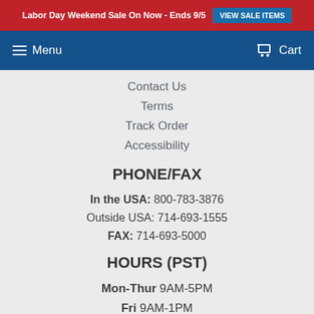Labor Day Weekend Sale On Now - Ends 9/5  VIEW SALE ITEMS
Menu   Cart
Contact Us
Terms
Track Order
Accessibility
PHONE/FAX
In the USA: 800-783-3876
Outside USA: 714-693-1555
FAX: 714-693-5000
HOURS (PST)
Mon-Thur 9AM-5PM
Fri 9AM-1PM
Sat-Sun CLOSED